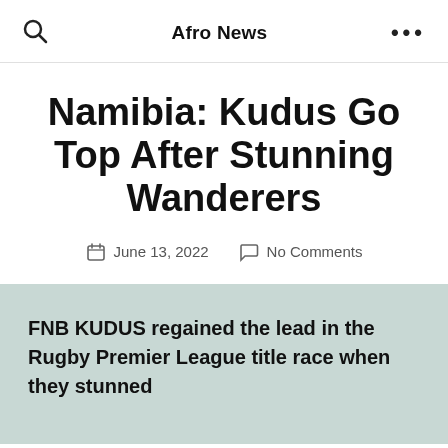Afro News
Namibia: Kudus Go Top After Stunning Wanderers
June 13, 2022   No Comments
FNB KUDUS regained the lead in the Rugby Premier League title race when they stunned